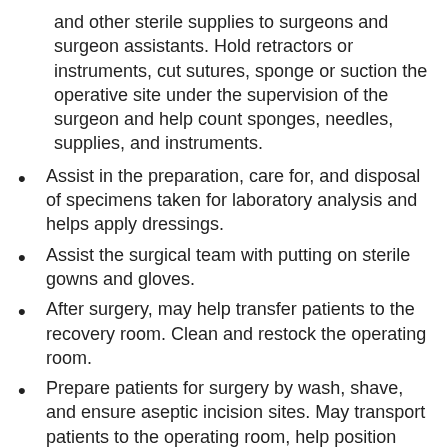and other sterile supplies to surgeons and surgeon assistants. Hold retractors or instruments, cut sutures, sponge or suction the operative site under the supervision of the surgeon and help count sponges, needles, supplies, and instruments.
Assist in the preparation, care for, and disposal of specimens taken for laboratory analysis and helps apply dressings.
Assist the surgical team with putting on sterile gowns and gloves.
After surgery, may help transfer patients to the recovery room. Clean and restock the operating room.
Prepare patients for surgery by wash, shave, and ensure aseptic incision sites. May transport patients to the operating room, help position them on the operating table, and cover them with sterile surgical drapes.